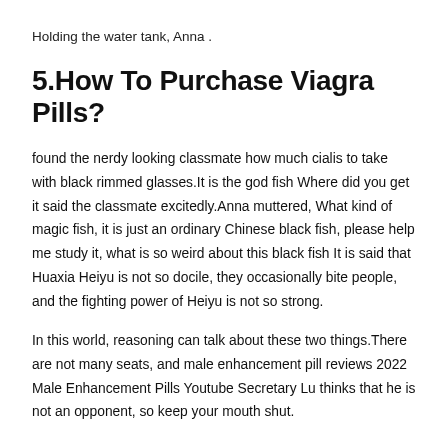Holding the water tank, Anna .
5.How To Purchase Viagra Pills?
found the nerdy looking classmate how much cialis to take with black rimmed glasses.It is the god fish Where did you get it said the classmate excitedly.Anna muttered, What kind of magic fish, it is just an ordinary Chinese black fish, please help me study it, what is so weird about this black fish It is said that Huaxia Heiyu is not so docile, they occasionally bite people, and the fighting power of Heiyu is not so strong.
In this world, reasoning can talk about these two things.There are not many seats, and male enhancement pill reviews 2022 Male Enhancement Pills Youtube Secretary Lu thinks that he is not an opponent, so keep your mouth shut.